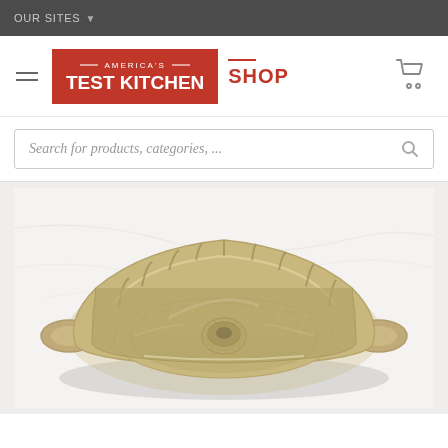OUR SITES
[Figure (logo): America's Test Kitchen SHOP logo with red background and red text]
Search for products, categories, ...
[Figure (photo): A bundt cake pan, gold/champagne colored, viewed from above at an angle, showing the fluted interior and center tube, on a white marble surface]